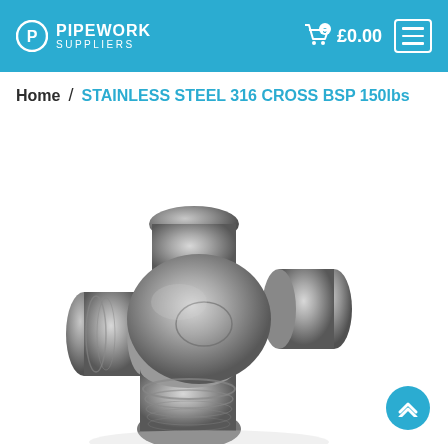PIPEWORK SUPPLIERS — Cart: £0.00
Home / STAINLESS STEEL 316 CROSS BSP 150lbs
[Figure (photo): Stainless steel 316 cross BSP pipe fitting at 150lbs pressure rating, showing four threaded ports in a cross configuration, photographed on white background]